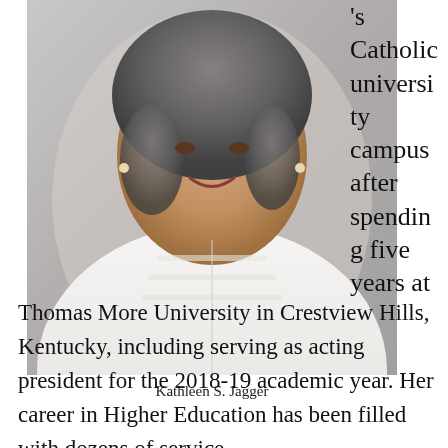[Figure (photo): Portrait photo of Kathleen S. Jagger, a woman with short gray hair, pearl necklace, wearing a white outfit, photographed against a soft gray background.]
Kathleen S. Jagger
's Catholic university campus after spending five years at Thomas More University in Crestview Hills, Kentucky, including serving as acting president for the 2018-19 academic year. Her career in Higher Education has been filled with dozens of service-